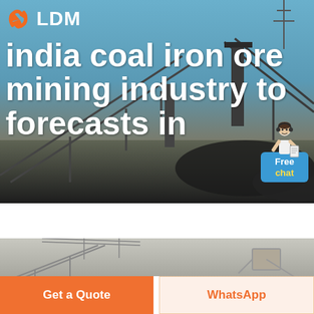[Figure (screenshot): Website screenshot showing LDM brand logo with orange hands icon and white 'LDM' text, followed by hero banner with coal/iron ore mining conveyor belt infrastructure background image, large white text reading 'india coal iron ore mining industry to forecasts in', a customer service chat widget on the right side with 'Free chat' button, a partial second industrial/mining image strip, and two call-to-action buttons at the bottom: orange 'Get a Quote' button and beige 'WhatsApp' button.]